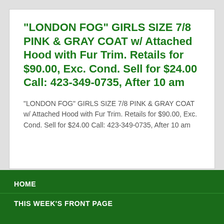“LONDON FOG” GIRLS SIZE 7/8 PINK & GRAY COAT w/ Attached Hood with Fur Trim. Retails for $90.00, Exc. Cond. Sell for $24.00 Call: 423-349-0735, After 10 am
“LONDON FOG” GIRLS SIZE 7/8 PINK & GRAY COAT w/ Attached Hood with Fur Trim. Retails for $90.00, Exc. Cond. Sell for $24.00 Call: 423-349-0735, After 10 am
HOME
THIS WEEK'S FRONT PAGE